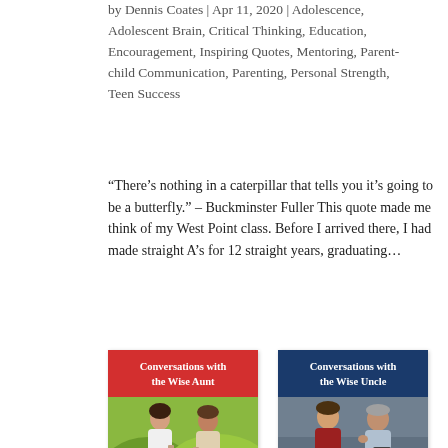by Dennis Coates | Apr 11, 2020 | Adolescence, Adolescent Brain, Critical Thinking, Education, Encouragement, Inspiring Quotes, Mentoring, Parent-child Communication, Parenting, Personal Strength, Teen Success
“There’s nothing in a caterpillar that tells you it’s going to be a butterfly.” – Buckminster Fuller This quote made me think of my West Point class. Before I arrived there, I had made straight A’s for 12 straight years, graduating…
[Figure (illustration): Book cover: Conversations with the Wise Aunt, red header with white text, photo of two young women talking outdoors]
[Figure (illustration): Book cover: Conversations with the Wise Uncle, dark blue header with white text, photo of a young man and older man in conversation]